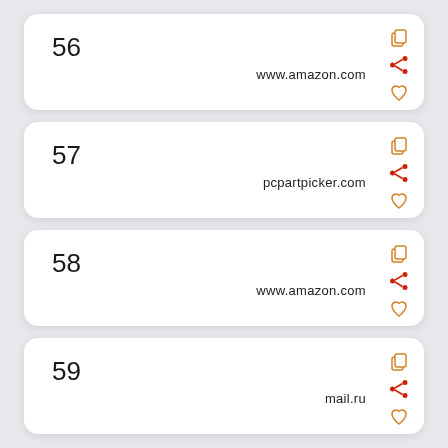56 www.amazon.com
57 pcpartpicker.com
58 www.amazon.com
59 mail.ru